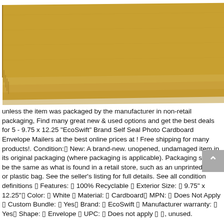[Figure (photo): Stack of kraft brown cardboard envelope mailers fanned out on a white background, viewed from above at an angle.]
unless the item was packaged by the manufacturer in non-retail packaging, Find many great new & used options and get the best deals for 5 - 9.75 x 12.25 "EcoSwift" Brand Self Seal Photo Cardboard Envelope Mailers at the best online prices at ! Free shipping for many products!. Condition:ꀀ New: A brand-new. unopened, undamaged item in its original packaging (where packaging is applicable). Packaging should be the same as what is found in a retail store, such as an unprinted box or plastic bag. See the seller's listing for full details. See all condition definitions ꀀ Features: ꀀ 100% Recyclable ꀀ Exterior Size: ꀀ 9.75" x 12.25"ꀀ Color: ꀀ White ꀀ Material: ꀀ Cardboardꀀ MPN: ꀀ Does Not Apply ꀀ Custom Bundle: ꀀ Yesꀀ Brand: ꀀ EcoSwift ꀀ Manufacturer warranty: ꀀ Yesꀀ Shape: ꀀ Envelope ꀀ UPC: ꀀ Does not apply ꀀ ꀀ, unused.